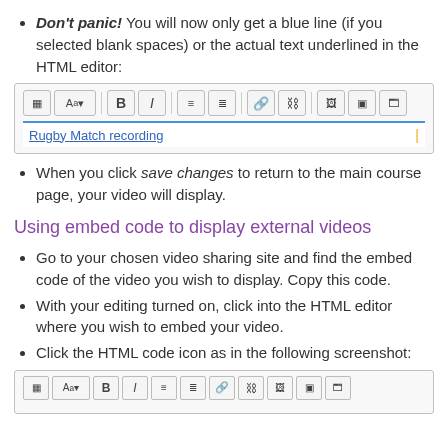Don't panic! You will now only get a blue line (if you selected blank spaces) or the actual text underlined in the HTML editor:
[Figure (screenshot): HTML editor toolbar screenshot showing formatting buttons, with 'Rugby Match recording' text underlined in blue in the editor field below]
When you click save changes to return to the main course page, your video will display.
Using embed code to display external videos
Go to your chosen video sharing site and find the embed code of the video you wish to display. Copy this code.
With your editing turned on, click into the HTML editor where you wish to embed your video.
Click the HTML code icon as in the following screenshot:
[Figure (screenshot): HTML editor toolbar screenshot (partial, cut off at bottom of page)]